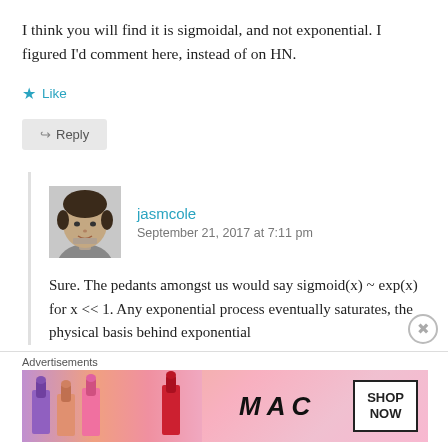I think you will find it is sigmoidal, and not exponential. I figured I'd comment here, instead of on HN.
Like
Reply
jasmcole
September 21, 2017 at 7:11 pm
[Figure (photo): Black and white avatar photo of user jasmcole, a young man]
Sure. The pedants amongst us would say sigmoid(x) ~ exp(x) for x << 1. Any exponential process eventually saturates, the physical basis behind exponential
[Figure (screenshot): MAC Cosmetics advertisement banner showing colorful lipsticks with SHOP NOW button]
Advertisements